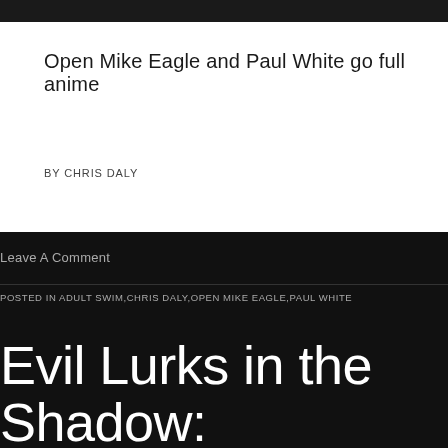Open Mike Eagle and Paul White go full anime
BY CHRIS DALY
Leave A Comment
POSTED IN ADULT SWIM,CHRIS DALY,OPEN MIKE EAGLE,PAUL WHITE
Evil Lurks in the Shadow: DOOMSTARK's